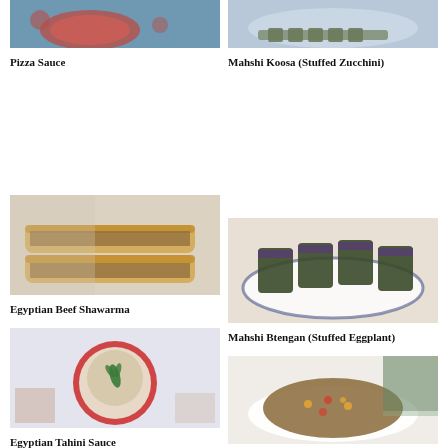[Figure (photo): Photo of pizza sauce in a pot on a blue surface with tomatoes]
Pizza Sauce
[Figure (photo): Photo of Mahshi Koosa (Stuffed Zucchini) on a blue plate]
Mahshi Koosa (Stuffed Zucchini)
[Figure (photo): Photo of Egyptian Beef Shawarma sandwiches on a tray]
Egyptian Beef Shawarma
[Figure (photo): Photo of Mahshi Btengan (Stuffed Eggplant) rolls on a blue and white plate]
Mahshi Btengan (Stuffed Eggplant)
[Figure (photo): Photo of Egyptian Tahini Sauce in a red rimmed bowl with a herb leaf on top]
Egyptian Tahini Sauce
[Figure (photo): Photo of Egyptian Assaj (Minced Meat Mix) in a white bowl]
Egyptian Assaj (Minced Meat Mix)